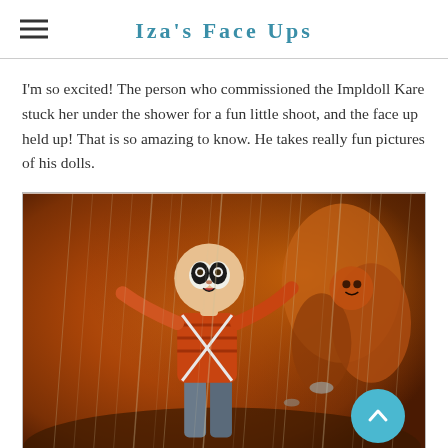Iza's Face Ups
I'm so excited! The person who commissioned the Impldoll Kare stuck her under the shower for a fun little shoot, and the face up held up! That is so amazing to know. He takes really fun pictures of his dolls.
[Figure (photo): A doll (Impldoll Kare) with dramatic face up markings photographed under a shower spray with warm orange/amber tones, water streaming down. The doll has distinctive black and white face markings and wears an orange top and blue-grey pants. A teal circular scroll-to-top button is overlaid in the bottom right corner of the image.]